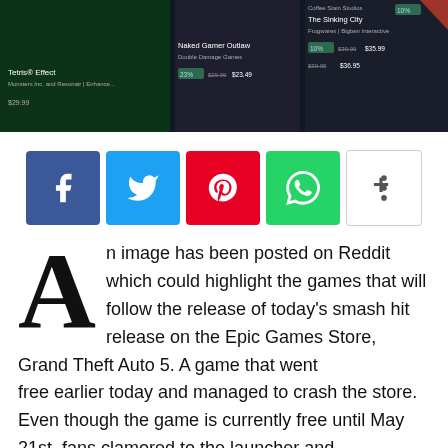[Figure (screenshot): Screenshot of Epic Games Store showing discounted game listings including Naked Gamer Outlaw by Double Damage Games, The Sinking City by Frogwares/Bigben Interactive, and Coffee Stain Studios game, with prices shown]
[Figure (infographic): Social share buttons row: Facebook (blue), Twitter (cyan), Pinterest (red), WhatsApp (green), More/Plus (white with border)]
An image has been posted on Reddit which could highlight the games that will follow the release of today's smash hit release on the Epic Games Store, Grand Theft Auto 5. A game that went free earlier today and managed to crash the store. Even though the game is currently free until May 21st, fans clamored to the launcher and immediately claimed the game. A new image has surfaced which shows the upcoming games for the May 2020 Epic Games Store Free Games
May 2020 Epic Games Store